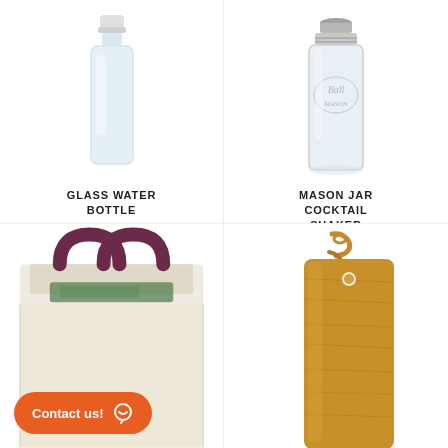[Figure (photo): Glass water bottle with white cap and frosted white silicone sleeve]
GLASS WATER BOTTLE
$35
[Figure (photo): Ball mason jar with silver metal cocktail shaker lid]
MASON JAR COCKTAIL SHAKER
$35
[Figure (photo): Canvas tote bag with burgundy handles containing items, with orange Contact us button overlay]
[Figure (photo): Wooden cutting board with leather strap handle]